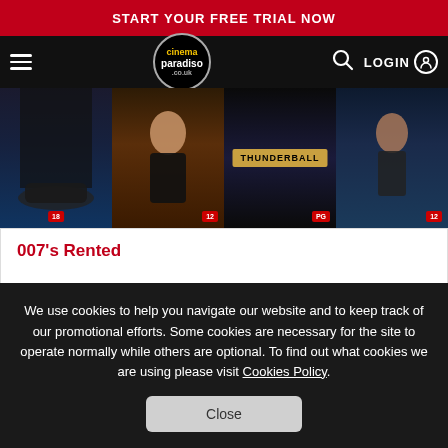START YOUR FREE TRIAL NOW
[Figure (screenshot): Cinema Paradiso website navigation bar with hamburger menu, logo, search icon, and LOGIN button]
[Figure (photo): Strip of four James Bond movie DVD covers including Thunderball]
007's Rented
236 films by 007
We use cookies to help you navigate our website and to keep track of our promotional efforts. Some cookies are necessary for the site to operate normally while others are optional. To find out what cookies we are using please visit Cookies Policy.
Close